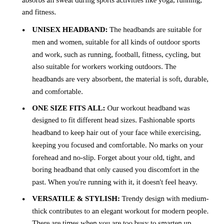Running, Exercise, Hatch, Hunting, Fitness, Basketball, Baseball, Football, Tennis and so on! Super soft perfectly absorbs all sweat during sports activities like yoga, running, and fitness.
UNISEX HEADBAND: The headbands are suitable for men and women, suitable for all kinds of outdoor sports and work, such as running, football, fitness, cycling, but also suitable for workers working outdoors. The headbands are very absorbent, the material is soft, durable, and comfortable.
ONE SIZE FITS ALL: Our workout headband was designed to fit different head sizes. Fashionable sports headband to keep hair out of your face while exercising, keeping you focused and comfortable. No marks on your forehead and no-slip. Forget about your old, tight, and boring headband that only caused you discomfort in the past. When you're running with it, it doesn't feel heavy.
VERSATILE & STYLISH: Trendy design with medium-thick contributes to an elegant workout for modern people. There are times when you are too busy to smarten up, That's why our headband is the accessory for your beautiful up-do, cute ponytail, or loose hair. It also has the innovative